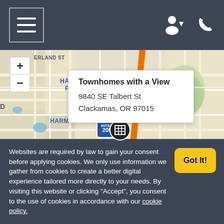Navigation header with menu button and user/phone icons
[Figure (map): Street map showing Harmony Point area, Sunnyside, with orange highway (I-205) running north-south. A popup callout shows: Townhomes with a View, 9840 SE Talbert St, Clackamas, OR 97015. A building marker pin is visible at the bottom center of the map.]
Websites are required by law to gain your consent before applying cookies. We only use information we gather from cookies to create a better digital experience tailored more directly to your needs. By visiting this website or clicking "Accept", you consent to the use of cookies in accordance with our cookie policy.